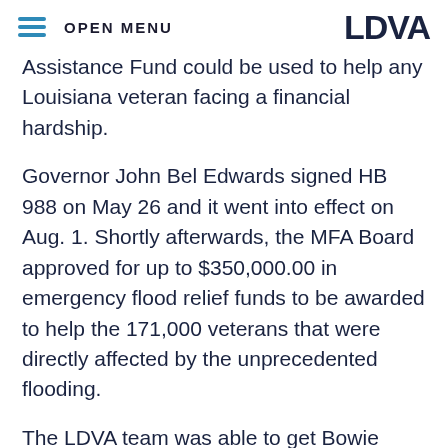OPEN MENU | LDVA
Assistance Fund could be used to help any Louisiana veteran facing a financial hardship.
Governor John Bel Edwards signed HB 988 on May 26 and it went into effect on Aug. 1. Shortly afterwards, the MFA Board approved for up to $350,000.00 in emergency flood relief funds to be awarded to help the 171,000 veterans that were directly affected by the unprecedented flooding.
The LDVA team was able to get Bowie accepted into LDVA's Louisiana Veterans Home in